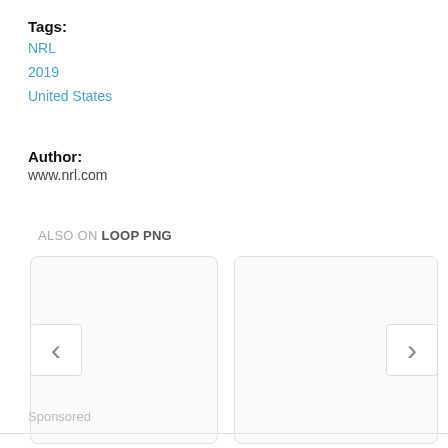Tags:
NRL
2019
United States
Author:
www.nrl.com
ALSO ON LOOP PNG
[Figure (other): Carousel navigation area with two empty cards and left/right chevron navigation buttons]
Sponsored